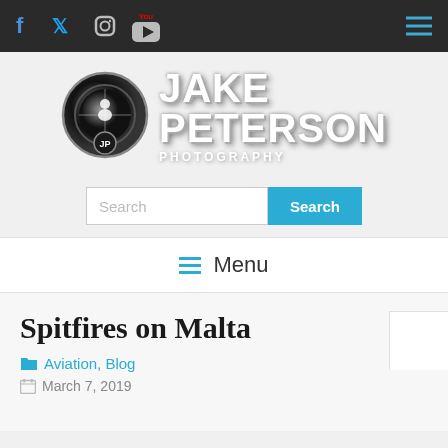Jake Peterson Photography — top navigation bar with social icons (Facebook, Twitter, Instagram, YouTube) and hamburger menu
[Figure (logo): Jake Peterson Photography logo: circular camera lens icon with photographer silhouette and JP badge, beside large bold white text JAKE PETERSON PHOTOGRAPHY]
Search
≡ Menu
Spitfires on Malta
Aviation, Blog
March 7, 2019